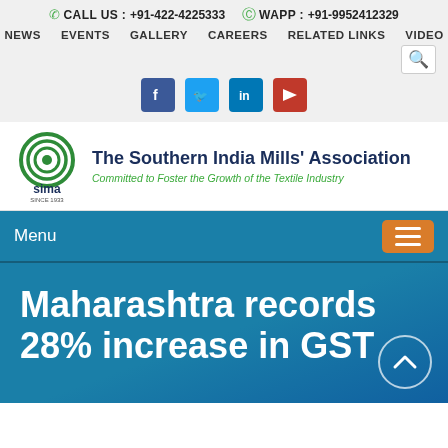CALL US : +91-422-4225333   WAPP : +91-9952412329
NEWS  EVENTS  GALLERY  CAREERS  RELATED LINKS  VIDEO
[Figure (logo): SIMA logo - circular green swirl design with 'sima' text and 'SINCE 1933' below]
The Southern India Mills' Association
Committed to Foster the Growth of the Textile Industry
Menu
Maharashtra records 28% increase in GST